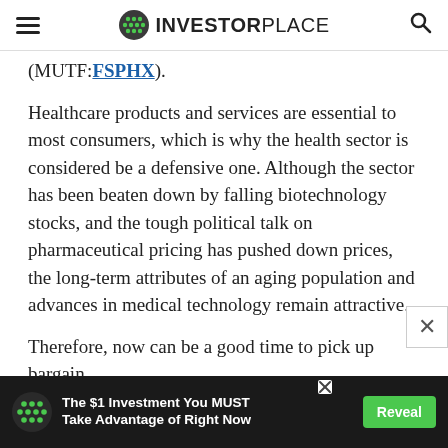InvestorPlace
(MUTF:FSPHX).
Healthcare products and services are essential to most consumers, which is why the health sector is considered be a defensive one. Although the sector has been beaten down by falling biotechnology stocks, and the tough political talk on pharmaceutical pricing has pushed down prices, the long-term attributes of an aging population and advances in medical technology remain attractive.
Therefore, now can be a good time to pick up bargain
[Figure (infographic): Advertisement banner: green dot logo on left, text 'The $1 Investment You MUST Take Advantage of Right Now', green Reveal button on right, with X close button]